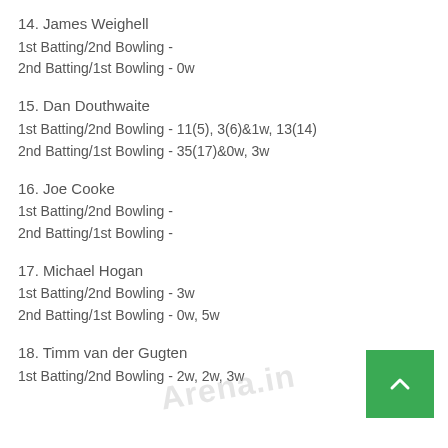14. James Weighell
1st Batting/2nd Bowling -
2nd Batting/1st Bowling - 0w
15. Dan Douthwaite
1st Batting/2nd Bowling - 11(5), 3(6)&1w, 13(14)
2nd Batting/1st Bowling - 35(17)&0w, 3w
16. Joe Cooke
1st Batting/2nd Bowling -
2nd Batting/1st Bowling -
17. Michael Hogan
1st Batting/2nd Bowling - 3w
2nd Batting/1st Bowling - 0w, 5w
18. Timm van der Gugten
1st Batting/2nd Bowling - 2w, 2w, 3w